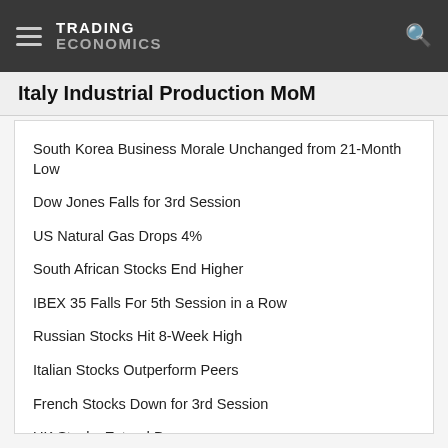TRADING ECONOMICS
Italy Industrial Production MoM
South Korea Business Morale Unchanged from 21-Month Low
Dow Jones Falls for 3rd Session
US Natural Gas Drops 4%
South African Stocks End Higher
IBEX 35 Falls For 5th Session in a Row
Russian Stocks Hit 8-Week High
Italian Stocks Outperform Peers
French Stocks Down for 3rd Session
UK Stocks Extend Drop
European Stocks Extend Losses for 3rd Session